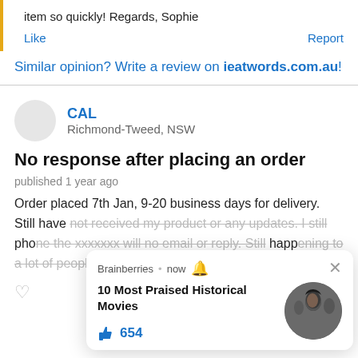item so quickly! Regards, Sophie
Like    Report
Similar opinion? Write a review on ieatwords.com.au!
CAL
Richmond-Tweed, NSW
No response after placing an order
published 1 year ago
Order placed 7th Jan, 9-20 business days for delivery. Still have not received my product or any updates. I still phone the xxxxxxx will no email or reply. Still happening to a lot of people it seems.
[Figure (screenshot): Brainberries popup notification: '10 Most Praised Historical Movies' with 654 likes and a circular movie still image]